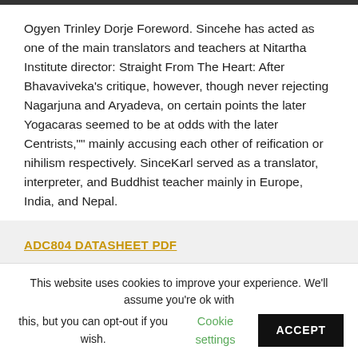Ogyen Trinley Dorje Foreword. Sincehe has acted as one of the main translators and teachers at Nitartha Institute director: Straight From The Heart: After Bhavaviveka's critique, however, though never rejecting Nagarjuna and Aryadeva, on certain points the later Yogacaras seemed to be at odds with the later Centrists,"" mainly accusing each other of reification or nihilism respectively. SinceKarl served as a translator, interpreter, and Buddhist teacher mainly in Europe, India, and Nepal.
ADC804 DATASHEET PDF
Books by Karl Brunnholzl (Author of The Heart
This website uses cookies to improve your experience. We'll assume you're ok with this, but you can opt-out if you wish. Cookie settings ACCEPT